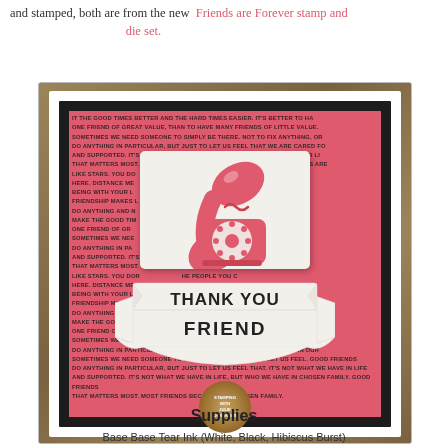and stamped, both are from the new  Friends are Forever stamp and die set.
[Figure (photo): Handmade greeting card with pink patterned background featuring repeated text about friendship, a white center panel with a retro pink telephone stamp, and a banner reading THANK YOU FRIEND. Card is layered with black mat on white card base, shown on wood surface.]
Supplies
Base Base Tear Ink (White, Black, Hibiscus Burst)